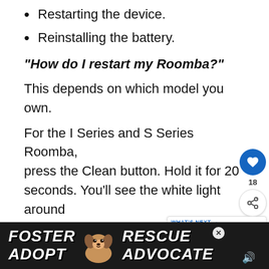Restarting the device.
Reinstalling the battery.
“How do I restart my Roomba?”
This depends on which model you own.
For the I Series and S Series Roomba, press the Clean button. Hold it for 20 seconds. You’ll see the white light around the button spin clockwise. When this happens, release the button. Wait for the Roomba... is only
[Figure (other): Foster Rescue Adopt Advocate advertisement banner with a dog image]
[Figure (other): Social media heart button with count 18 and share button sidebar widget]
[Figure (other): What's Next widget showing 5 Steps To Fix Roomba...]